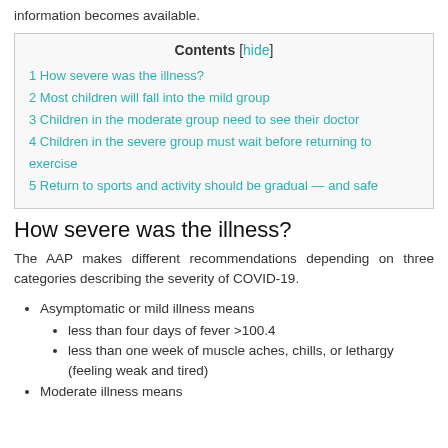information becomes available.
| Contents [hide] |
| --- |
| 1 How severe was the illness? |
| 2 Most children will fall into the mild group |
| 3 Children in the moderate group need to see their doctor |
| 4 Children in the severe group must wait before returning to exercise |
| 5 Return to sports and activity should be gradual — and safe |
How severe was the illness?
The AAP makes different recommendations depending on three categories describing the severity of COVID-19.
Asymptomatic or mild illness means
less than four days of fever >100.4
less than one week of muscle aches, chills, or lethargy (feeling weak and tired)
Moderate illness means